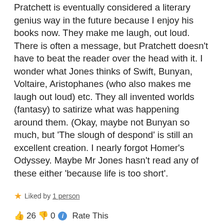Pratchett is eventually considered a literary genius way in the future because I enjoy his books now. They make me laugh, out loud. There is often a message, but Pratchett doesn't have to beat the reader over the head with it. I wonder what Jones thinks of Swift, Bunyan, Voltaire, Aristophanes (who also makes me laugh out loud) etc. They all invented worlds (fantasy) to satirize what was happening around them. (Okay, maybe not Bunyan so much, but 'The slough of despond' is still an excellent creation. I nearly forgot Homer's Odyssey. Maybe Mr Jones hasn't read any of these either 'because life is too short'.
★ Liked by 1 person
👍 26 👎 0 ℹ Rate This